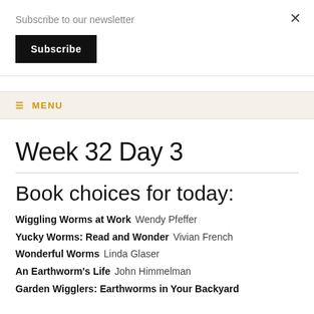Subscribe to our newsletter
Subscribe
≡ MENU
Week 32 Day 3
Book choices for today:
Wiggling Worms at Work   Wendy Pfeffer
Yucky Worms: Read and Wonder   Vivian French
Wonderful Worms   Linda Glaser
An Earthworm's Life   John Himmelman
Garden Wigglers: Earthworms in Your Backyard